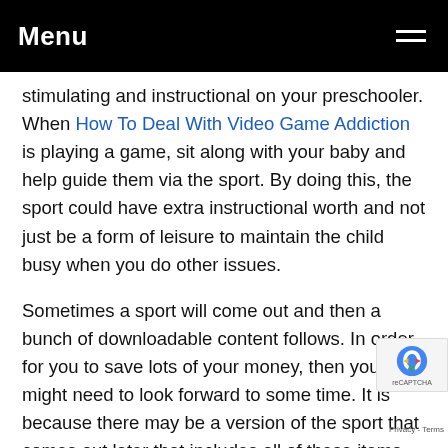Menu
stimulating and instructional on your preschooler. When How To Deal With Video Game Addiction is playing a game, sit along with your baby and help guide them via the sport. By doing this, the sport could have extra instructional worth and not just be a form of leisure to maintain the child busy when you do other issues.
Sometimes a sport will come out and then a bunch of downloadable content follows. In order for you to save lots of your money, then you might need to look forward to some time. It is because there may be a version of the sport that comes out later that includes all of these items for a decrease worth. Do not get